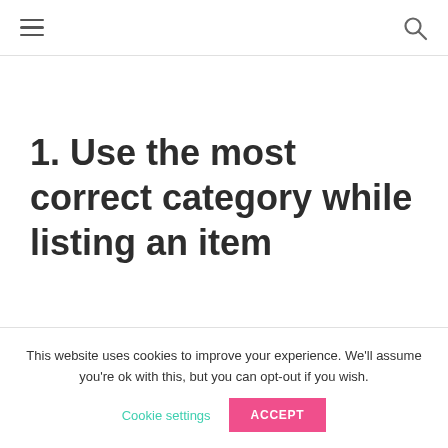≡  🔍
1. Use the most correct category while listing an item
This website uses cookies to improve your experience. We'll assume you're ok with this, but you can opt-out if you wish.
Cookie settings   ACCEPT